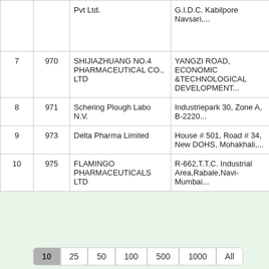| # | ID | Name | Address |  |
| --- | --- | --- | --- | --- |
|  |  | Pvt Ltd. | G.I.D.C. Kabilpore Navsari,... |  |
| 7 | 970 | SHIJIAZHUANG NO.4 PHARMACEUTICAL CO., LTD | YANGZI ROAD, ECONOMIC &TECHNOLOGICAL DEVELOPMENT... |  |
| 8 | 971 | Schering Plough Labo N.V. | Industriepark 30, Zone A, B-2220... |  |
| 9 | 973 | Delta Pharma Limited | House # 501, Road # 34, New DOHS, Mohakhali,... |  |
| 10 | 975 | FLAMINGO PHARMACEUTICALS LTD | R-662,T.T.C. Industrial Area,Rabale,Navi-Mumbai... |  |